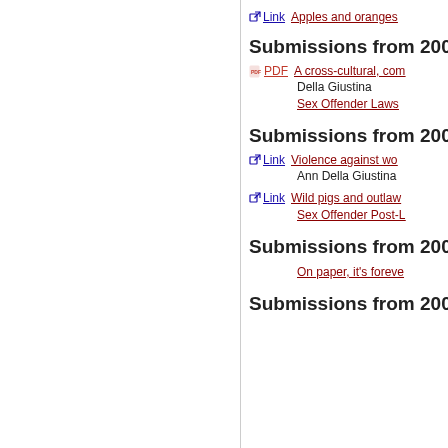Link  Apples and oranges
Submissions from 2009
PDF  A cross-cultural, co...
Della Giustina
Sex Offender Laws
Submissions from 2008
Link  Violence against wo...
Ann Della Giustina
Link  Wild pigs and outlaw
Sex Offender Post-L
Submissions from 2007
On paper, it's foreve
Submissions from 200